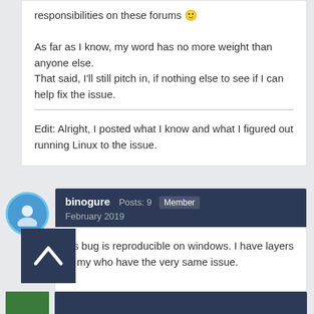responsibilities on these forums 🙂

As far as I know, my word has no more weight than anyone else.
That said, I'll still pitch in, if nothing else to see if I can help fix the issue.

Edit: Alright, I posted what I know and what I figured out running Linux to the issue.
binogure  Posts: 9  Member
February 2019
his bug is reproducible on windows. I have layers of my who have the very same issue.